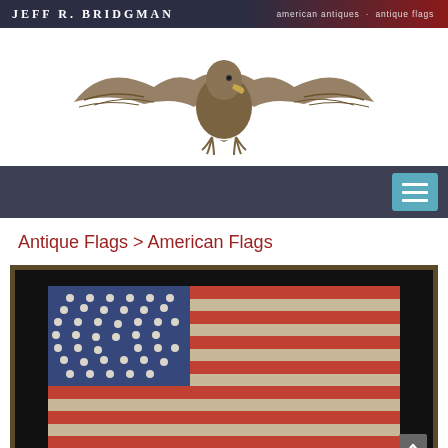JEFF R. BRIDGMAN  american antiques · antique flags
[Figure (photo): Decorative carved eagle with spread wings, bronze/gold coloring, used as a logo/mascot for Jeff R. Bridgman American Antiques]
Navigation menu bar with hamburger menu button
Antique Flags > American Flags
[Figure (photo): Antique American flag with approximately 34-36 stars arranged in a pattern on the blue canton, displayed in a dark wooden frame against black background. The flag shows red and white stripes and the stars appear to be arranged in a V or medallion pattern.]